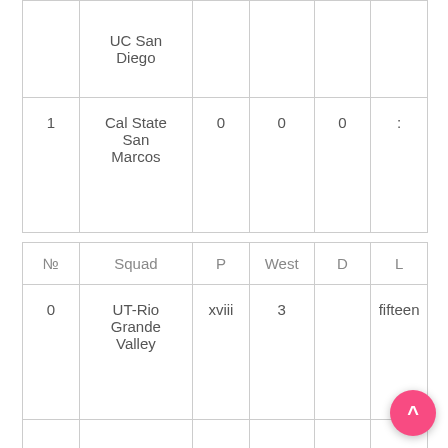| № | Squad | P | West | D | L |
| --- | --- | --- | --- | --- | --- |
|  | UC San Diego |  |  |  |  |
| 1 | Cal State San Marcos | 0 | 0 | 0 | : |
| № | Squad | P | West | D | L |
| --- | --- | --- | --- | --- | --- |
| 0 | UT-Rio Grande Valley | xviii | 3 |  | fifteen |